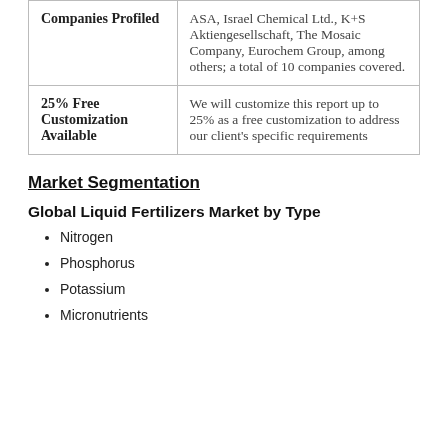| Companies Profiled | ASA, Israel Chemical Ltd., K+S Aktiengesellschaft, The Mosaic Company, Eurochem Group, among others; a total of 10 companies covered. |
| 25% Free Customization Available | We will customize this report up to 25% as a free customization to address our client's specific requirements |
Market Segmentation
Global Liquid Fertilizers Market by Type
Nitrogen
Phosphorus
Potassium
Micronutrients